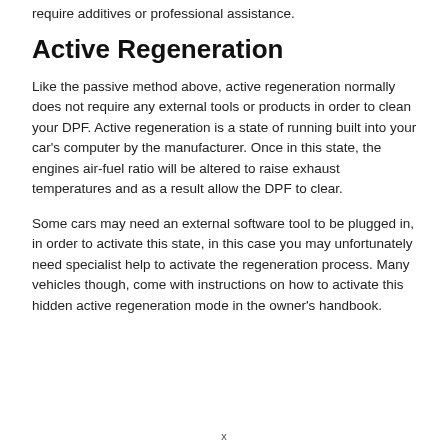require additives or professional assistance.
Active Regeneration
Like the passive method above, active regeneration normally does not require any external tools or products in order to clean your DPF. Active regeneration is a state of running built into your car’s computer by the manufacturer. Once in this state, the engines air-fuel ratio will be altered to raise exhaust temperatures and as a result allow the DPF to clear.
Some cars may need an external software tool to be plugged in, in order to activate this state, in this case you may unfortunately need specialist help to activate the regeneration process. Many vehicles though, come with instructions on how to activate this hidden active regeneration mode in the owner’s handbook.
x